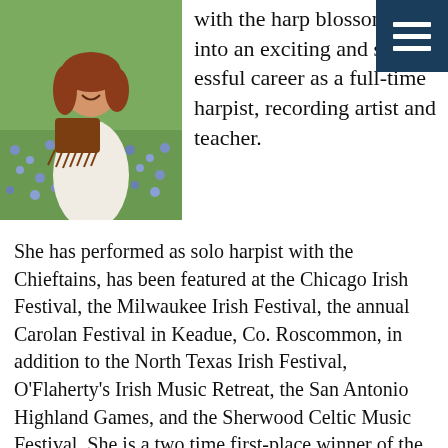[Figure (photo): Woman with shoulder-length auburn hair sitting in a field of bluebonnets, wearing a white top and holding a brown fringed harp bag, smiling at the camera.]
with the harp blossomed into an exciting and successful career as a full-time harpist, recording artist and teacher.
She has performed as solo harpist with the Chieftains, has been featured at the Chicago Irish Festival, the Milwaukee Irish Festival, the annual Carolan Festival in Keadue, Co. Roscommon, in addition to the North Texas Irish Festival, O'Flaherty's Irish Music Retreat, the San Antonio Highland Games, and the Sherwood Celtic Music Festival. She is a two time first-place winner of the Gulf Coast Celtic Harp Competition.